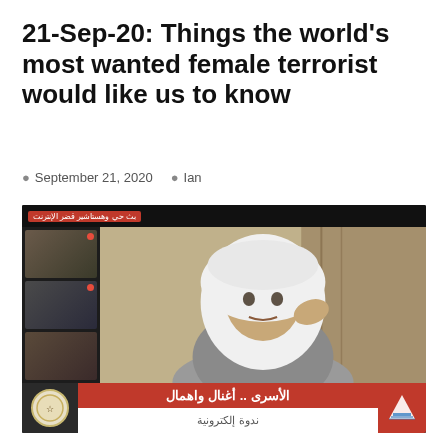21-Sep-20: Things the world's most wanted female terrorist would like us to know
September 21, 2020   Ian
[Figure (screenshot): Video screenshot showing a woman wearing a white hijab speaking, with small thumbnail panels of other participants on the left side, Arabic text overlay at top and bottom including red banners with Arabic text]